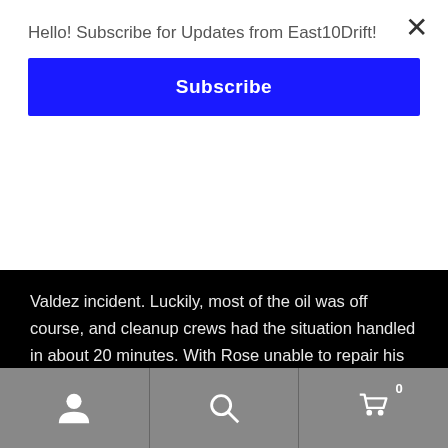Hello! Subscribe for Updates from East10Drift!
Subscribe
Valdez incident. Luckily, most of the oil was off course, and cleanup crews had the situation handled in about 20 minutes. With Rose unable to repair his car within the time limit of the competition time out, White would take the victory.
[Figure (photo): Three-panel photo strip showing outdoor scene with tall lamp posts against a partly cloudy sky, with dark treeline/buildings at the bottom]
[Figure (infographic): Bottom navigation bar with person/account icon, search magnifier icon, and shopping cart icon with badge showing 0]